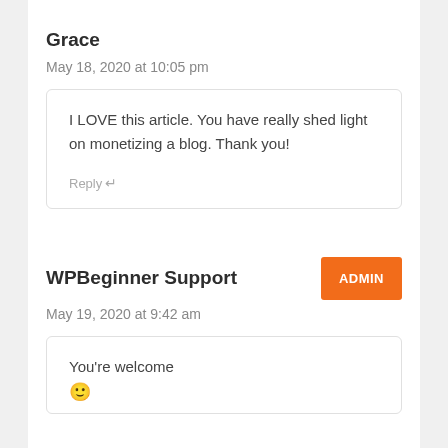Grace
May 18, 2020 at 10:05 pm
I LOVE this article. You have really shed light on monetizing a blog. Thank you!
Reply
WPBeginner Support
ADMIN
May 19, 2020 at 9:42 am
You're welcome 🙂